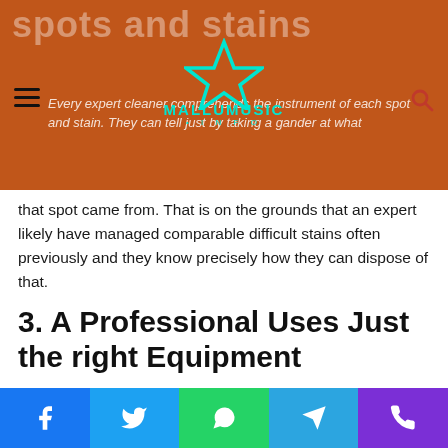spots and stains
[Figure (logo): Mallumusic.info logo with teal star and teal text]
Every expert cleaner comprehends the instrument of each spot and stain. They can tell just by taking a gander at what that spot came from. That is on the grounds that an expert likely have managed comparable difficult stains often previously and they know precisely how they can dispose of that.
3. A Professional Uses Just the right Equipment
An expert uses most recent, great hardware that does the work rapidly and without any problem. Fair Services suppliers utilize Second grade gear that scarcely takes care of business and by and large, exacerbates your floor covering than
Facebook Twitter WhatsApp Telegram Phone